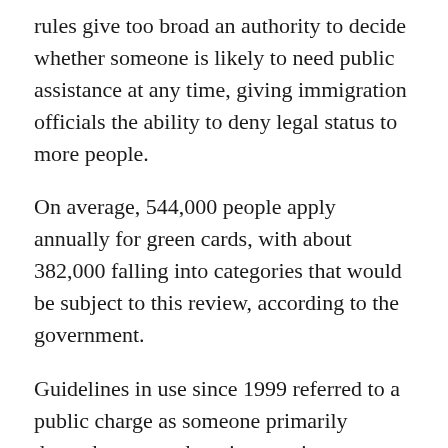rules give too broad an authority to decide whether someone is likely to need public assistance at any time, giving immigration officials the ability to deny legal status to more people.
On average, 544,000 people apply annually for green cards, with about 382,000 falling into categories that would be subject to this review, according to the government.
Guidelines in use since 1999 referred to a public charge as someone primarily dependent on cash assistance, income maintenance or government support for long-term institutionalization.
Under the new rules, the Department of Homeland Security has redefined a public charge as someone who